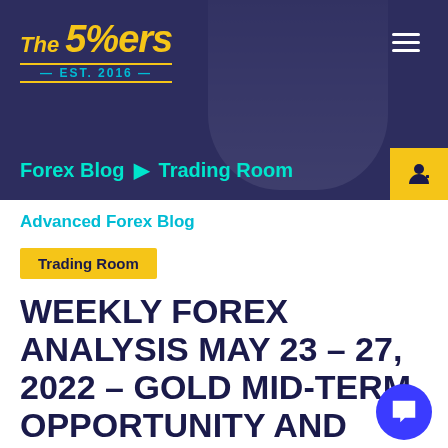[Figure (screenshot): The 5%ers website header banner with dark navy/purple background and a person visible in the background. Contains logo, hamburger menu, login button, and breadcrumb navigation.]
Forex Blog ▶ Trading Room
Advanced Forex Blog
Trading Room
WEEKLY FOREX ANALYSIS MAY 23 – 27, 2022 – GOLD MID-TERM OPPORTUNITY AND SUPPLY REACTION T…